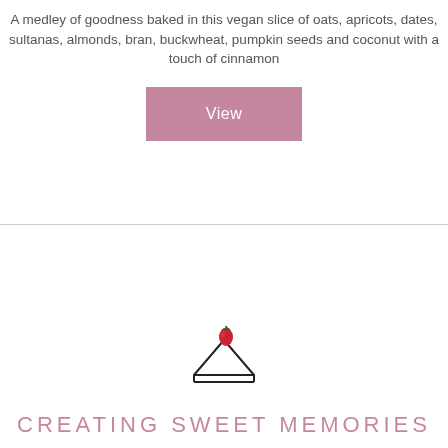A medley of goodness baked in this vegan slice of oats, apricots, dates, sultanas, almonds, bran, buckwheat, pumpkin seeds and coconut with a touch of cinnamon
[Figure (other): A pink/mauve rectangular button with the word 'View' in white text]
[Figure (logo): A simple line drawing of a slice of cake with a red strawberry on top]
CREATING SWEET MEMORIES